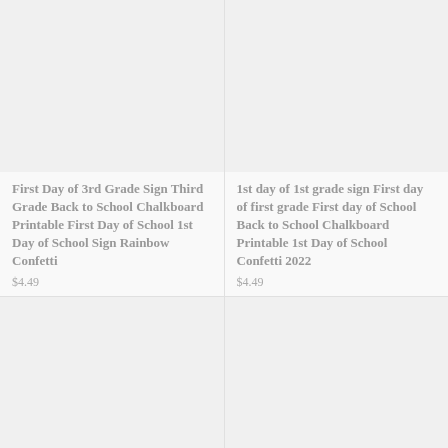[Figure (photo): Product image placeholder for 3rd Grade Sign chalkboard printable, light gray background]
First Day of 3rd Grade Sign Third Grade Back to School Chalkboard Printable First Day of School 1st Day of School Sign Rainbow Confetti
$4.49
[Figure (photo): Product image placeholder for 1st grade sign chalkboard printable, light gray background]
1st day of 1st grade sign First day of first grade First day of School Back to School Chalkboard Printable 1st Day of School Confetti 2022
$4.49
[Figure (photo): Product image placeholder bottom left, light gray background]
[Figure (photo): Product image placeholder bottom right, light gray background]